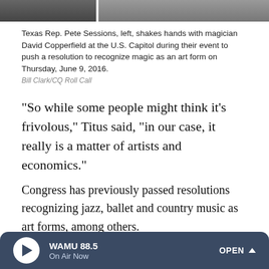[Figure (photo): Photo strip showing two people, cropped at top of page. Texas Rep. Pete Sessions and magician David Copperfield shaking hands at U.S. Capitol.]
Texas Rep. Pete Sessions, left, shakes hands with magician David Copperfield at the U.S. Capitol during their event to push a resolution to recognize magic as an art form on Thursday, June 9, 2016.
Bill Clark/CQ Roll Call
"So while some people might think it's frivolous," Titus said, "in our case, it really is a matter of artists and economics."
Congress has previously passed resolutions recognizing jazz, ballet and country music as art forms, among others.
The Society of American Magicians, the world's oldest magic organization founded in 1902, has been trying to get Congress to recognize magic as an art form since the 1960s.
WAMU 88.5 On Air Now OPEN